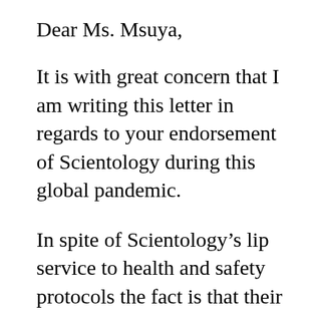Dear Ms. Msuya,
It is with great concern that I am writing this letter in regards to your endorsement of Scientology during this global pandemic.
In spite of Scientology’s lip service to health and safety protocols the fact is that their various public spokespersons, from actors and influencers to